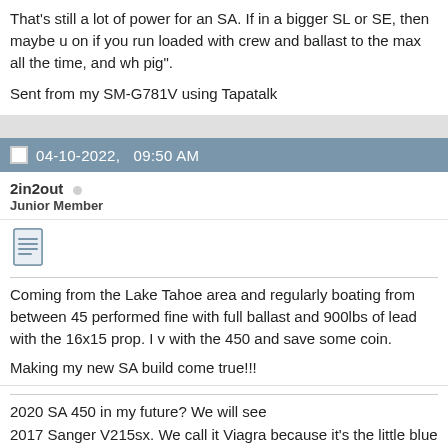That's still a lot of power for an SA. If in a bigger SL or SE, then maybe u on if you run loaded with crew and ballast to the max all the time, and wh pig".
Sent from my SM-G781V using Tapatalk
04-10-2022, 09:50 AM
2in2out
Junior Member
Coming from the Lake Tahoe area and regularly boating from between 45 performed fine with full ballast and 900lbs of lead with the 16x15 prop. I v with the 450 and save some coin.
Making my new SA build come true!!!
2020 SA 450 in my future? We will see
2017 Sanger V215sx. We call it Viagra because it's the little blue boat tha